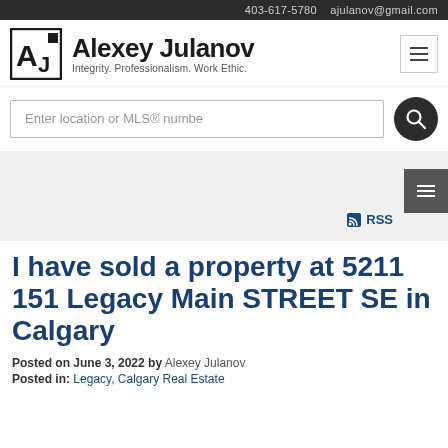403-617-5780  ajulanov@gmail.com
[Figure (logo): Alexey Julanov logo with stylized AJ lettermark and text: Alexey Julanov, Integrity. Professionalism. Work Ethic.]
Enter location or MLS® numbe
I have sold a property at 5211 151 Legacy Main STREET SE in Calgary
Posted on June 3, 2022 by Alexey Julanov
Posted in: Legacy, Calgary Real Estate